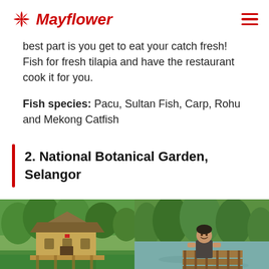Mayflower
best part is you get to eat your catch fresh! Fish for fresh tilapia and have the restaurant cook it for you.
Fish species: Pacu, Sultan Fish, Carp, Rohu and Mekong Catfish
2. National Botanical Garden, Selangor
[Figure (photo): Two side-by-side photos: left shows a wooden traditional Malay house/chalet on the water with green surroundings; right shows a young man smiling sitting on a dock beside a calm lake surrounded by trees.]